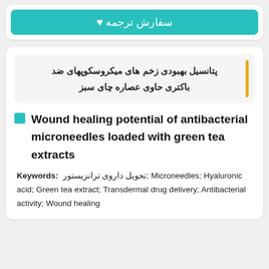سفارش ترجمه
پتانسیل بهبودی زخم های میکروسکوپهای ضد باکتری حاوی عصاره چای سبز
Wound healing potential of antibacterial microneedles loaded with green tea extracts
Keywords: تحویل داروی ترانزیستور; Microneedles; Hyaluronic acid; Green tea extract; Transdermal drug delivery; Antibacterial activity; Wound healing